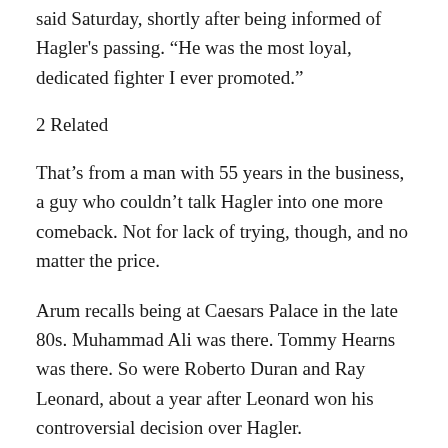said Saturday, shortly after being informed of Hagler's passing. “He was the most loyal, dedicated fighter I ever promoted.”
2 Related
That’s from a man with 55 years in the business, a guy who couldn’t talk Hagler into one more comeback. Not for lack of trying, though, and no matter the price.
Arum recalls being at Caesars Palace in the late 80s. Muhammad Ali was there. Tommy Hearns was there. So were Roberto Duran and Ray Leonard, about a year after Leonard won his controversial decision over Hagler.
“Tell Marvin we should do it again, a rematch,” Leonard told Arum. “We’ll make a fortune. Tell him.”